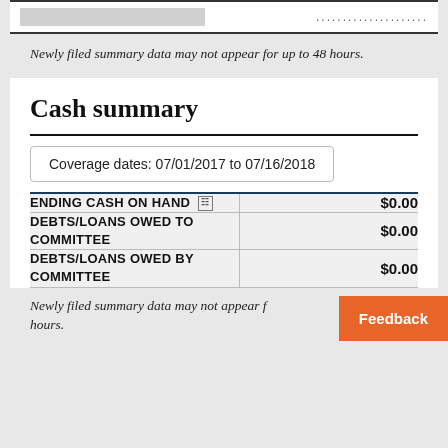Newly filed summary data may not appear for up to 48 hours.
Cash summary
Coverage dates: 07/01/2017 to 07/16/2018
|  |  |
| --- | --- |
| ENDING CASH ON HAND | $0.00 |
| DEBTS/LOANS OWED TO COMMITTEE | $0.00 |
| DEBTS/LOANS OWED BY COMMITTEE | $0.00 |
Newly filed summary data may not appear for up to 48 hours.